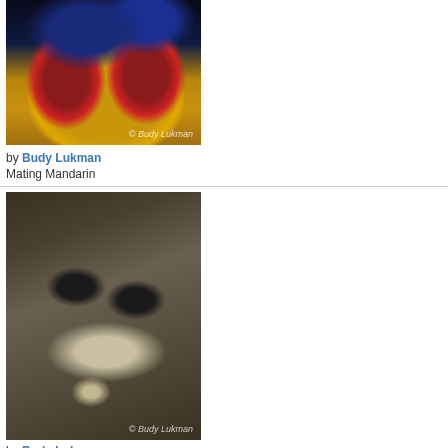[Figure (photo): Close-up underwater photo of mating mandarin fish with vivid blue and dark red fan-like fins against a gold/sandy background. Watermark: © Budy Lukman]
by Budy Lukman
Mating Mandarin
[Figure (photo): Close-up underwater photo of a flatfish or goby camouflaged against sandy/gravelly seafloor, showing two protruding eyes and a pale underside. Watermark: © Budy Lukman]
by Budy Lukman